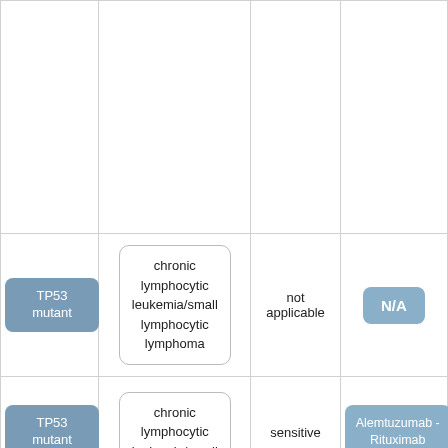| Biomarker | Disease | Sensitivity | Drug |
| --- | --- | --- | --- |
|  |  |  |  |
| TP53 mutant | chronic lymphocytic leukemia/small lymphocytic lymphoma | not applicable | N/A |
| TP53 mutant | chronic lymphocytic leukemia/small lymphocytic lymphoma | sensitive | Alemtuzumab - Rituximab |